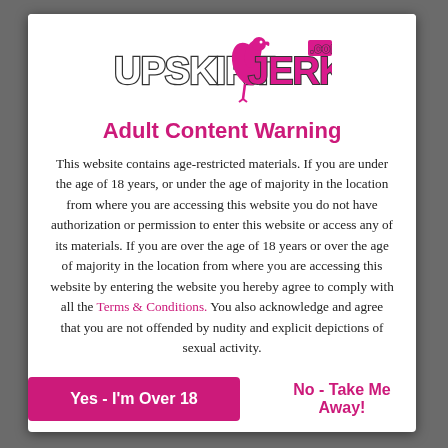[Figure (logo): UpskirtJerk.com logo with stylized text and pink flamingo bird graphic]
Adult Content Warning
This website contains age-restricted materials. If you are under the age of 18 years, or under the age of majority in the location from where you are accessing this website you do not have authorization or permission to enter this website or access any of its materials. If you are over the age of 18 years or over the age of majority in the location from where you are accessing this website by entering the website you hereby agree to comply with all the Terms & Conditions. You also acknowledge and agree that you are not offended by nudity and explicit depictions of sexual activity.
Yes - I'm Over 18
No - Take Me Away!